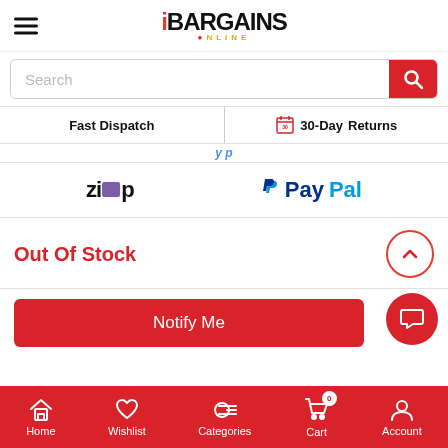iBARGAINS ONLINE — navigation header with hamburger menu and logo
Search
Fast Dispatch | 30-Day Returns
[Figure (logo): Zip payment logo with purple square and PayPal logo side by side]
Out Of Stock
Notify Me
Home | Wishlist | Categories | Cart (0) | Account